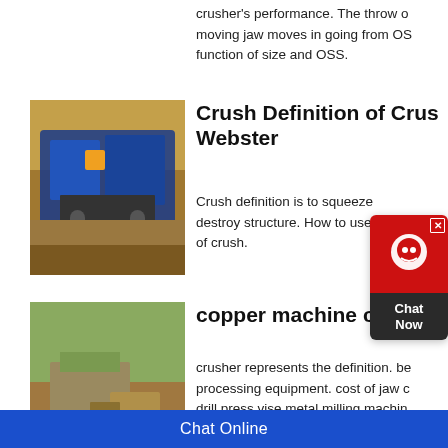crusher's performance. The throw of moving jaw moves in going from OSS function of size and OSS.
[Figure (photo): Blue mobile jaw crusher machine working at a mining/quarrying site with rock material around it]
Crush Definition of Crush by Webster
Crush definition is to squeeze or destroy structure. How to use crush of crush.
[Figure (photo): Open pit copper mine with heavy machinery and equipment visible, rocky terrain]
copper machine crusher
crusher represents the definition. be processing equipment. cost of jaw c drill press vise metal milling machin iraq. 150 180 tph granite mining pla
Chat Online